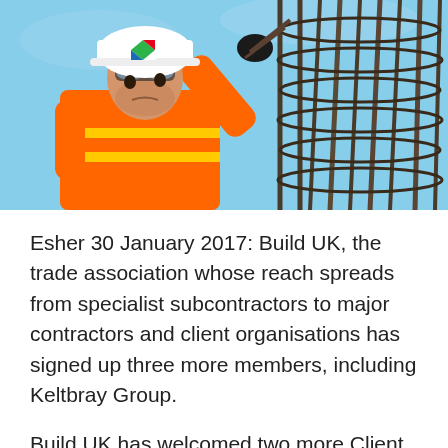[Figure (photo): A construction worker wearing an orange high-visibility vest and white hard hat with a green/red logo, looking upward and pointing at a steel rebar cage structure against a blue sky background.]
Esher 30 January 2017: Build UK, the trade association whose reach spreads from specialist subcontractors to major contractors and client organisations has signed up three more members, including Keltbray Group.
Build UK has welcomed two more Client organisations and a Contractor member to its